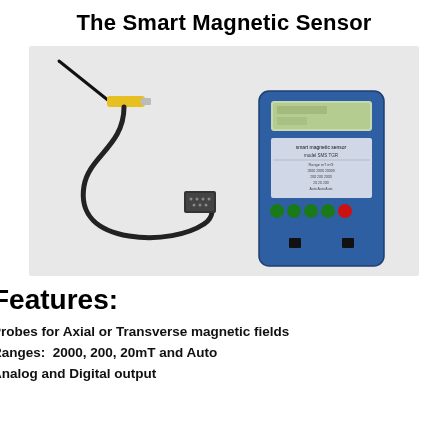The Smart Magnetic Sensor
[Figure (photo): Photo of the Smart Magnetic Sensor device: a handheld blue rectangular meter with LCD display and colored buttons, alongside a probe with yellow handle and thin black rod, connected via black cable with a DB9 connector.]
Features:
Probes for Axial or Transverse magnetic fields
Ranges:  2000, 200, 20mT and Auto
Analog and Digital output